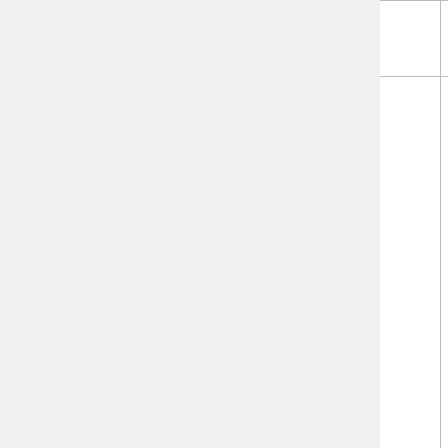| Product | Manufacturer | Country | Description |
| --- | --- | --- | --- |
|  |  |  | g |
| Bubblegum Cigarettes | World Confections | USA | B
a
c
U
g
p
c
i
(
c
g
c
s |
| Canel's | Canel's | Mexico | C
i
w
f |
|  |  |  | A |